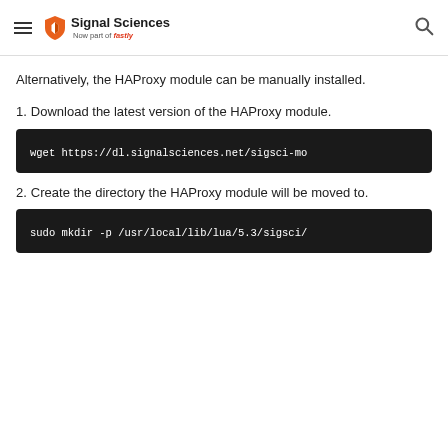Signal Sciences — Now part of fastly
Alternatively, the HAProxy module can be manually installed.
1. Download the latest version of the HAProxy module.
[Figure (screenshot): Code block showing: wget https://dl.signalsciences.net/sigsci-mo...]
2. Create the directory the HAProxy module will be moved to.
[Figure (screenshot): Code block showing: sudo mkdir -p /usr/local/lib/lua/5.3/sigsci/]